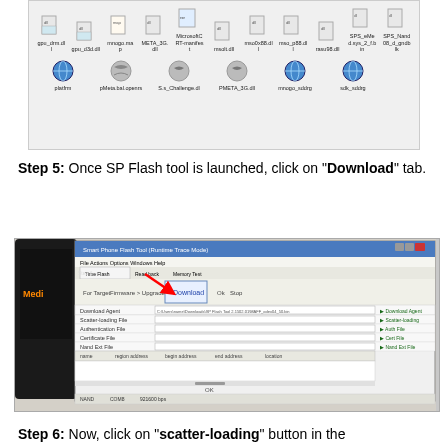[Figure (screenshot): Windows Explorer folder showing DLL and config files with icons]
Step 5: Once SP Flash tool is launched, click on "Download" tab.
[Figure (screenshot): SP Flash Tool application window showing Download tab with scatter-loading options]
Step 6: Now, click on "scatter-loading" button in the